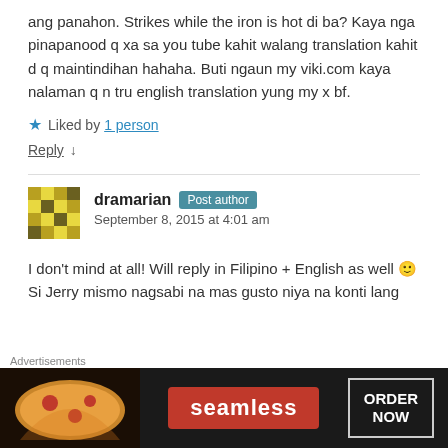ang panahon. Strikes while the iron is hot di ba? Kaya nga pinapanood q xa sa you tube kahit walang translation kahit d q maintindihan hahaha. Buti ngaun my viki.com kaya nalaman q n tru english translation yung my x bf.
★ Liked by 1 person
Reply ↓
dramarian Post author
September 8, 2015 at 4:01 am
I don't mind at all! Will reply in Filipino + English as well 🙂 Si Jerry mismo nagsabi na mas gusto niya na konti lang
[Figure (other): Seamless food delivery advertisement banner with pizza image, seamless logo, and ORDER NOW button]